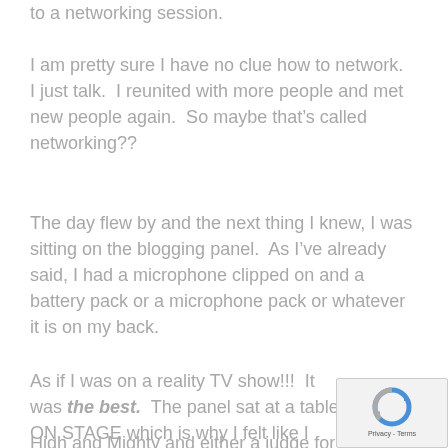to a networking session.
I am pretty sure I have no clue how to network.  I just talk.  I reunited with more people and met new people again.  So maybe that's called networking??
The day flew by and the next thing I knew, I was sitting on the blogging panel.  As I've already said, I had a microphone clipped on and a battery pack or a microphone pack or whatever it is on my back.
As if I was on a reality TV show!!!  It was the best.  The panel sat at a table ON STAGE which is why I felt like I was Miss High and Mighty and either a judge for
[Figure (other): reCAPTCHA badge with blue and grey logo and 'Privacy - Terms' text]